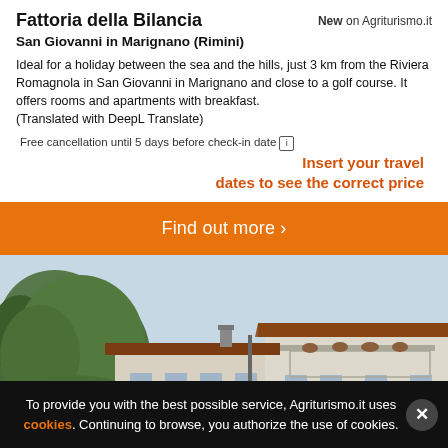Fattoria della Bilancia
New on Agriturismo.it
San Giovanni in Marignano (Rimini)
Ideal for a holiday between the sea and the hills, just 3 km from the Riviera Romagnola in San Giovanni in Marignano and close to a golf course. It offers rooms and apartments with breakfast.
(Translated with DeepL Translate)
Free cancellation until 5 days before check-in date [i] Insert your travel dates to see the correct price
Find out more >
[Figure (photo): Exterior photo of Fattoria della Bilancia farmhouse building, showing a rural building with terracotta roof, balconies with plants, surrounded by trees and greenery.]
To provide you with the best possible service, Agriturismo.it uses cookies. Continuing to browse, you authorize the use of cookies.